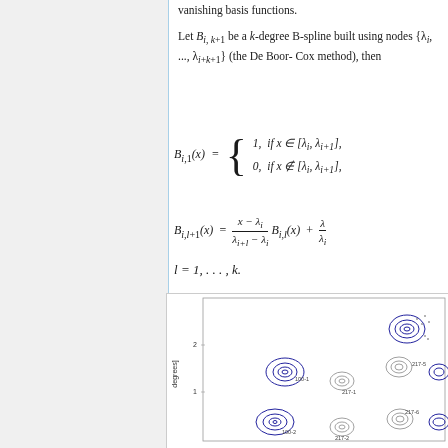vanishing basis functions.
Let B_{i, k+1} be a k-degree B-spline built using nodes {λ_i, ..., λ_{i+k+1}} (the De Boor-Cox method), then
[Figure (continuous-plot): Contour plot showing B-spline basis functions as concentric oval contours, with labels such as 100-1, 100-2, 217-1, 217-2, 217-5, 217-6 at various positions. Y-axis shows values around 0-2, with a label 'degrees' on the y-axis. Blue and gray contour clusters distributed across the plot area.]